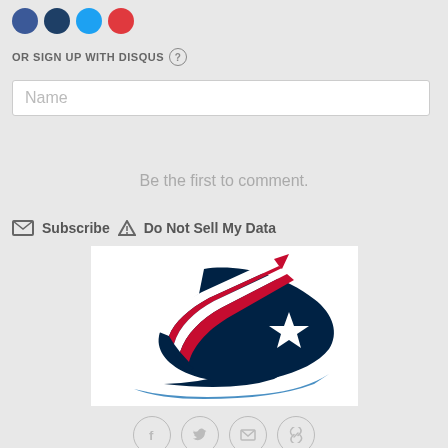[Figure (other): Social login icons (blue, dark blue, light blue, red circles) at top]
OR SIGN UP WITH DISQUS ?
Name
Be the first to comment.
Subscribe  Do Not Sell My Data
[Figure (logo): New England Patriots flying elvis logo with red, white, and blue colors]
[Figure (other): Bottom social sharing icons: Facebook, Twitter, Email, Link]